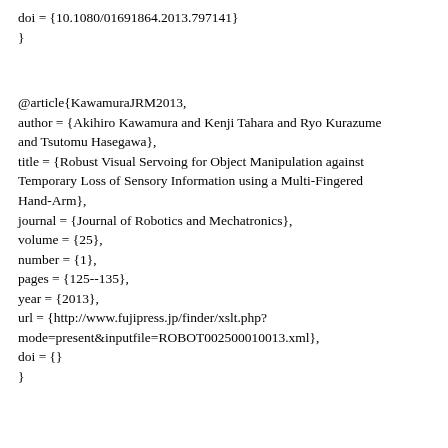doi = {10.1080/01691864.2013.797141}
}
@article{KawamuraJRM2013,
author = {Akihiro Kawamura and Kenji Tahara and Ryo Kurazume and Tsutomu Hasegawa},
title = {Robust Visual Servoing for Object Manipulation against Temporary Loss of Sensory Information using a Multi-Fingered Hand-Arm},
journal = {Journal of Robotics and Mechatronics},
volume = {25},
number = {1},
pages = {125--135},
year = {2013},
url = {http://www.fujipress.jp/finder/xslt.php?mode=present&inputfile=ROBOT002500010013.xml},
doi = {}
}
@article{ZhangJRM2013,
author = {Dong Xiang ZHANG and Ryo Kurazume and Yumi Iwashita and Tsutomu Hasegawa},